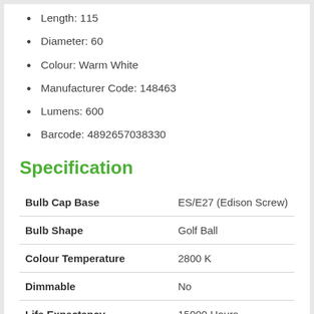Length: 115
Diameter: 60
Colour: Warm White
Manufacturer Code: 148463
Lumens: 600
Barcode: 4892657038330
Specification
| Property | Value |
| --- | --- |
| Bulb Cap Base | ES/E27 (Edison Screw) |
| Bulb Shape | Golf Ball |
| Colour Temperature | 2800 K |
| Dimmable | No |
| Life Expectancy | 15000 Hours |
| Light Colour | Warm White |